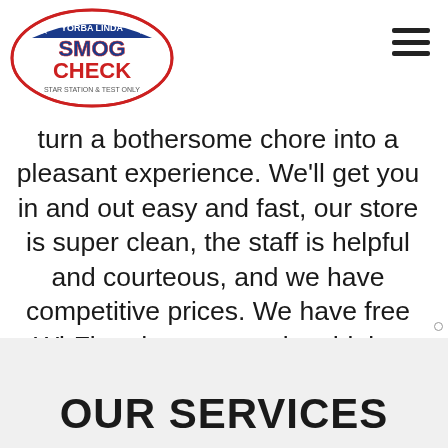[Figure (logo): Yorba Linda Smog Check logo — circular badge with stars, red/blue/white colors, text 'SMOG CHECK' and 'STAR STATION & TEST ONLY']
turn a bothersome chore into a pleasant experience. We'll get you in and out easy and fast, our store is super clean, the staff is helpful and courteous, and we have competitive prices. We have free Wi-Fi and some snacks, drinks, and magazines that will help our customer be more comfortable during their stay at our shop.
OUR SERVICES